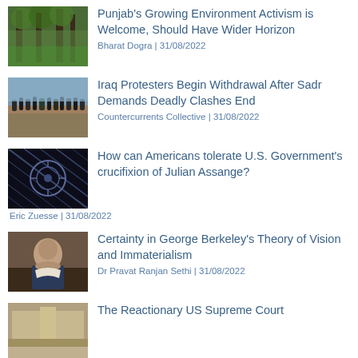[Figure (photo): Forest/trees photo thumbnail]
Punjab's Growing Environment Activism is Welcome, Should Have Wider Horizon
Bharat Dogra | 31/08/2022
[Figure (photo): Iraq protesters crowd photo thumbnail]
Iraq Protesters Begin Withdrawal After Sadr Demands Deadly Clashes End
Countercurrents Collective | 31/08/2022
[Figure (photo): Screen/digital graphic photo thumbnail]
How can Americans tolerate U.S. Government's crucifixion of Julian Assange?
Eric Zuesse | 31/08/2022
[Figure (photo): Portrait painting photo thumbnail]
Certainty in George Berkeley's Theory of Vision and Immaterialism
Dr Pravat Ranjan Sethi | 31/08/2022
The Reactionary US Supreme Court